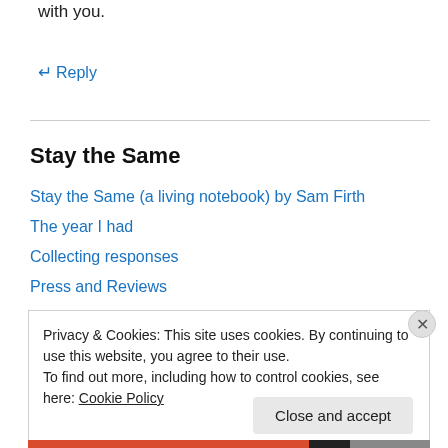with you.
↵ Reply
Stay the Same
Stay the Same (a living notebook) by Sam Firth
The year I had
Collecting responses
Press and Reviews
Related Films
Privacy & Cookies: This site uses cookies. By continuing to use this website, you agree to their use.
To find out more, including how to control cookies, see here: Cookie Policy
Close and accept